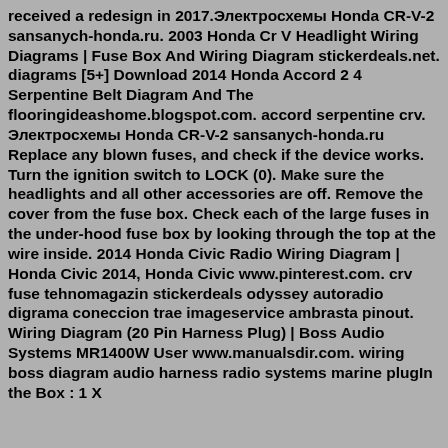received a redesign in 2017.Электросхемы Honda CR-V-2 sansanych-honda.ru. 2003 Honda Cr V Headlight Wiring Diagrams | Fuse Box And Wiring Diagram stickerdeals.net. diagrams [5+] Download 2014 Honda Accord 2 4 Serpentine Belt Diagram And The flooringideashome.blogspot.com. accord serpentine crv. Электросхемы Honda CR-V-2 sansanych-honda.ru Replace any blown fuses, and check if the device works. Turn the ignition switch to LOCK (0). Make sure the headlights and all other accessories are off. Remove the cover from the fuse box. Check each of the large fuses in the under-hood fuse box by looking through the top at the wire inside. 2014 Honda Civic Radio Wiring Diagram | Honda Civic 2014, Honda Civic www.pinterest.com. crv fuse tehnomagazin stickerdeals odyssey autoradio digrama coneccion trae imageservice ambrasta pinout. Wiring Diagram (20 Pin Harness Plug) | Boss Audio Systems MR1400W User www.manualsdir.com. wiring boss diagram audio harness radio systems marine plugIn the Box : 1 X